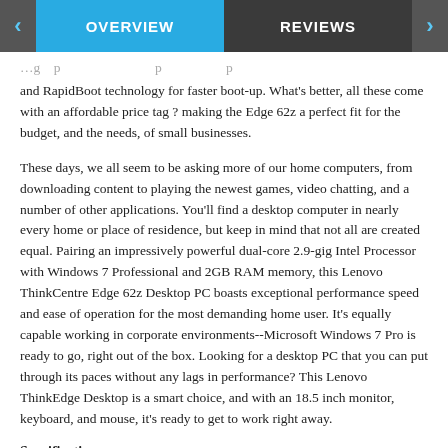OVERVIEW | REVIEWS
and RapidBoot technology for faster boot-up. What's better, all these come with an affordable price tag ? making the Edge 62z a perfect fit for the budget, and the needs, of small businesses.
These days, we all seem to be asking more of our home computers, from downloading content to playing the newest games, video chatting, and a number of other applications. You'll find a desktop computer in nearly every home or place of residence, but keep in mind that not all are created equal. Pairing an impressively powerful dual-core 2.9-gig Intel Processor with Windows 7 Professional and 2GB RAM memory, this Lenovo ThinkCentre Edge 62z Desktop PC boasts exceptional performance speed and ease of operation for the most demanding home user. It's equally capable working in corporate environments--Microsoft Windows 7 Pro is ready to go, right out of the box. Looking for a desktop PC that you can put through its paces without any lags in performance? This Lenovo ThinkEdge Desktop is a smart choice, and with an 18.5 inch monitor, keyboard, and mouse, it's ready to get to work right away.
Specifications:
Model: 2117EUK